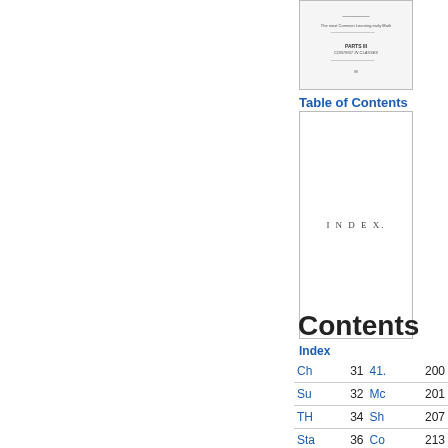[Figure (other): Small thumbnail of a book cover page with text lines]
Table of Contents
[Figure (other): Thumbnail of an index page with text INDEX. centered]
Index
Contents
|  |  |  |  |
| --- | --- | --- | --- |
| Ch | 31 | 41. | 200 |
| Su | 32 | Mc | 201 |
| TH | 34 | Sh | 207 |
| Sta | 36 | Co | 213 |
| As | 37 | To | 216 |